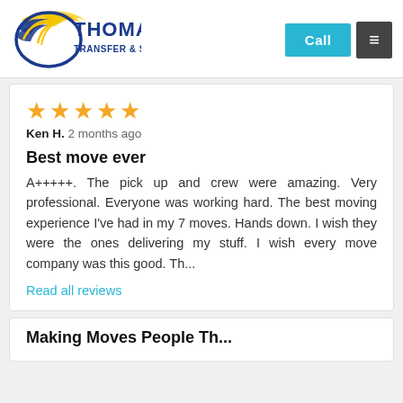[Figure (logo): Thomas Transfer & Storage company logo with blue bird/wing graphic and blue/yellow text]
Call
≡
★★★★★
Ken H. 2 months ago

Best move ever
A+++++. The pick up and crew were amazing. Very professional. Everyone was working hard. The best moving experience I've had in my 7 moves. Hands down. I wish they were the ones delivering my stuff. I wish every move company was this good. Th...
Read all reviews